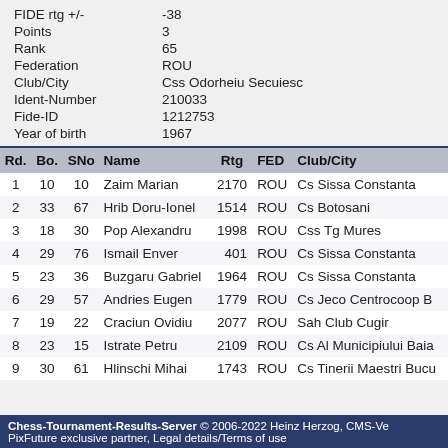FIDE rtg +/-: -38
Points: 3
Rank: 65
Federation: ROU
Club/City: Css Odorheiu Secuiesc
Ident-Number: 210033
Fide-ID: 1212753
Year of birth: 1967
| Rd. | Bo. | SNo | Name | Rtg | FED | Club/City |
| --- | --- | --- | --- | --- | --- | --- |
| 1 | 10 | 10 | Zaim Marian | 2170 | ROU | Cs Sissa Constanta |
| 2 | 33 | 67 | Hrib Doru-Ionel | 1514 | ROU | Cs Botosani |
| 3 | 18 | 30 | Pop Alexandru | 1998 | ROU | Css Tg Mures |
| 4 | 29 | 76 | Ismail Enver | 401 | ROU | Cs Sissa Constanta |
| 5 | 23 | 36 | Buzgaru Gabriel | 1964 | ROU | Cs Sissa Constanta |
| 6 | 29 | 57 | Andries Eugen | 1779 | ROU | Cs Jeco Centrocoop B |
| 7 | 19 | 22 | Craciun Ovidiu | 2077 | ROU | Sah Club Cugir |
| 8 | 23 | 15 | Istrate Petru | 2109 | ROU | Cs Al Municipiului Baia |
| 9 | 30 | 61 | Hlinschi Mihai | 1743 | ROU | Cs Tinerii Maestri Bucu |
Chess-Tournament-Results-Server © 2006-2022 Heinz Herzog, CMS-Ve PixFuture exclusive partner, Legal details/Terms of use